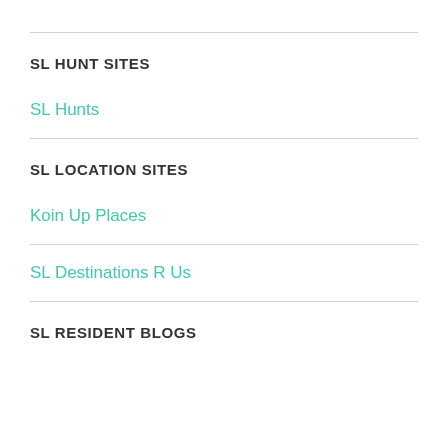SL HUNT SITES
SL Hunts
SL LOCATION SITES
Koin Up Places
SL Destinations R Us
SL RESIDENT BLOGS